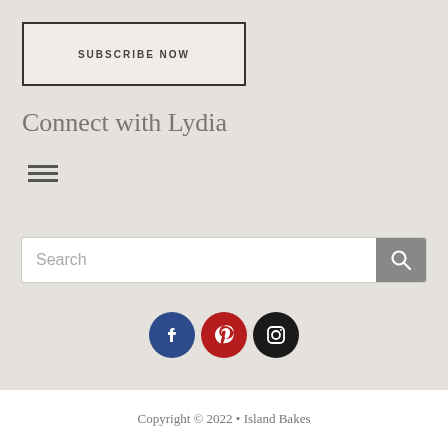SUBSCRIBE NOW
Connect with Lydia
[Figure (infographic): Hamburger menu icon with three horizontal lines]
[Figure (infographic): Search bar with text 'Search' and a grey search button with magnifying glass icon]
[Figure (infographic): Social media icons: Facebook (blue circle), Pinterest (red circle), Instagram (black circle)]
Copyright © 2022 • Island Bakes